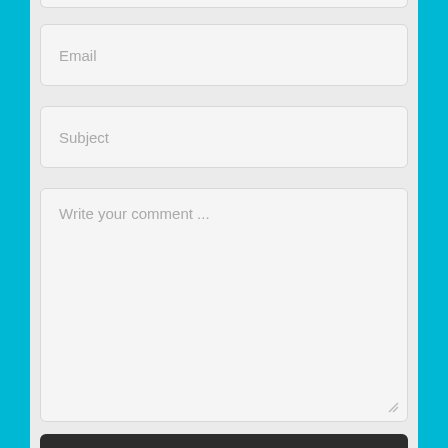[Figure (screenshot): A web form UI screenshot showing a partial top input box (cropped at top), an Email input field, a Subject input field, a large comment textarea with placeholder text 'Write your comment ...', and a partial dark submit button at the bottom. The background is teal/cyan with a light gray center panel.]
Email
Subject
Write your comment ...